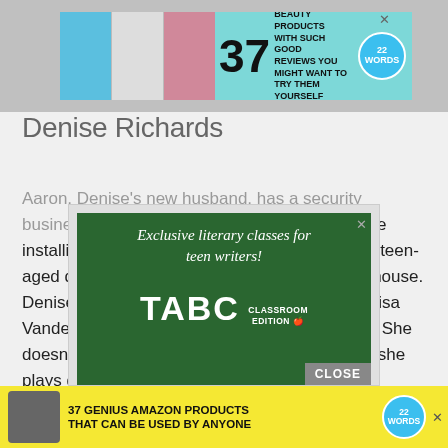[Figure (other): Top advertisement banner: '37 BEAUTY PRODUCTS WITH SUCH GOOD REVIEWS YOU MIGHT WANT TO TRY THEM YOURSELF' with 22 Words badge, on teal background with product images]
Denise Richards
Aaron, Denise's new husband, has a security business. This is coming in handy since they are installing a lot more cameras to ensure that the teen-aged daughter doesn't sneak in and out of the house. Denise feels badly about her relationship with Lisa Vanderpump. She has always been nice to her. She doesn't want to be on LVP's bad side, because she plays dirty.
[Figure (other): Advertisement for TABC Classroom Edition: 'Exclusive literary classes for teen writers!' on a green chalkboard background]
[Figure (other): Bottom advertisement banner: '37 GENIUS AMAZON PRODUCTS THAT CAN BE USED BY ANYONE' with 22 Words badge, on yellow background]